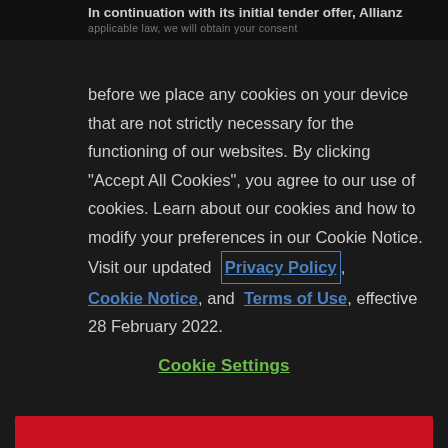In continuation with its initial tender offer, Allianz
applicable law, we will obtain your consent before we place any cookies on your device that are not strictly necessary for the functioning of our websites. By clicking "Accept All Cookies", you agree to our use of cookies. Learn about our cookies and how to modify your preferences in our Cookie Notice. Visit our updated Privacy Policy, Cookie Notice, and Terms of Use, effective 28 February 2022.
Cookie Settings